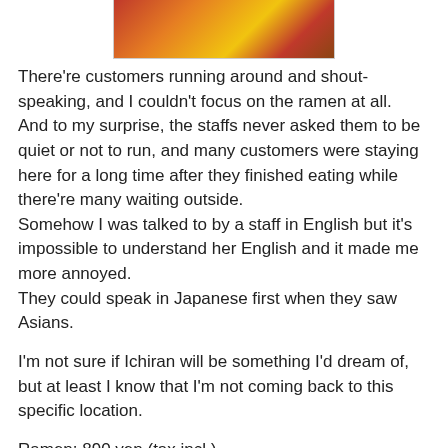[Figure (photo): Partial photo of ramen dish, cropped at top]
There're customers running around and shout-speaking, and I couldn't focus on the ramen at all.
And to my surprise, the staffs never asked them to be quiet or not to run, and many customers were staying here for a long time after they finished eating while there're many waiting outside.
Somehow I was talked to by a staff in English but it's impossible to understand her English and it made me more annoyed.
They could speak in Japanese first when they saw Asians.
I'm not sure if Ichiran will be something I'd dream of, but at least I know that I'm not coming back to this specific location.
Ramen: 890 yen (tax incl.)
Ichiran / 一蘭
1-17-10, Kabukicho, Shinjuku, Tokyo
Open every day: 10 AM ~ 6 AM